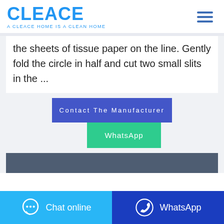[Figure (logo): CLEACE logo in blue with tagline 'A CLEACE HOME IS A CLEAN HOME']
the sheets of tissue paper on the line. Gently fold the circle in half and cut two small slits in the ...
Contact The Manufacturer
WhatsApp
Chat online
WhatsApp